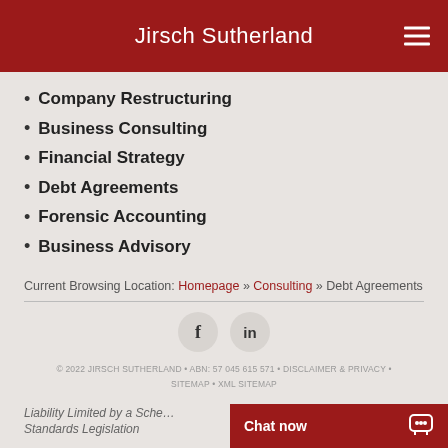Jirsch Sutherland
Company Restructuring
Business Consulting
Financial Strategy
Debt Agreements
Forensic Accounting
Business Advisory
Current Browsing Location: Homepage » Consulting » Debt Agreements
[Figure (other): Facebook and LinkedIn social media icon buttons]
© 2022 JIRSCH SUTHERLAND • ABN: 57 045 615 571 • DISCLAIMER & PRIVACY • SITEMAP • XML SITEMAP
Liability Limited by a Scheme Approved Under Professional Standards Legislation
Chat now